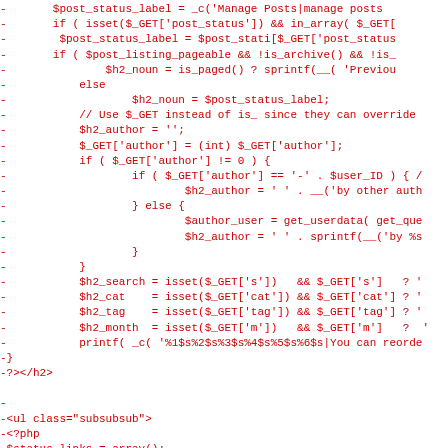[Figure (screenshot): Code diff screenshot showing PHP code lines prefixed with minus signs in red monospace font on white background. Lines include PHP code for managing post status labels, author filtering, search/category/tag/month variables, and HTML for ul subsubsub class.]